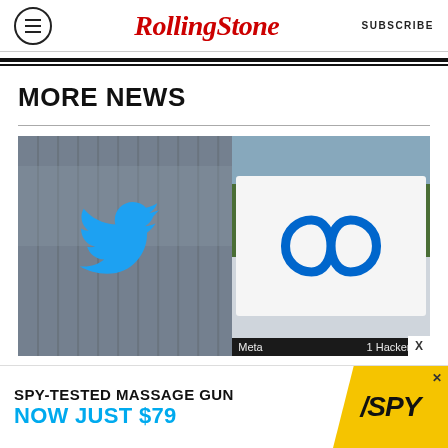Rolling Stone | SUBSCRIBE
MORE NEWS
[Figure (photo): Composite image showing Twitter bird logo on a building facade (left) and Meta infinity logo sign at 1 Hacker Way (right)]
[Figure (infographic): Advertisement banner: SPY-TESTED MASSAGE GUN NOW JUST $79 with SPY logo on yellow background]